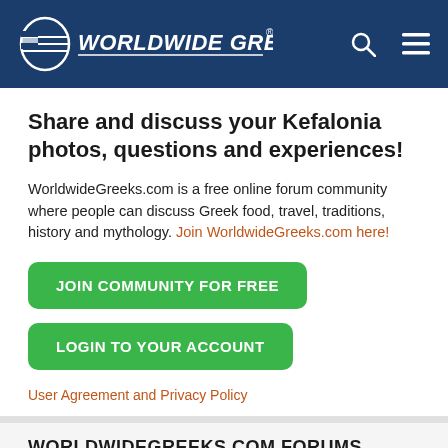Worldwide Greeks
Share and discuss your Kefalonia photos, questions and experiences!
WorldwideGreeks.com is a free online forum community where people can discuss Greek food, travel, traditions, history and mythology. Join WorldwideGreeks.com here!
JOIN COMMUNITY FOR FREE
LOGIN TO YOUR ACCOUNT
User Agreement and Privacy Policy
WORLDWIDEGREEKS.COM FORUMS